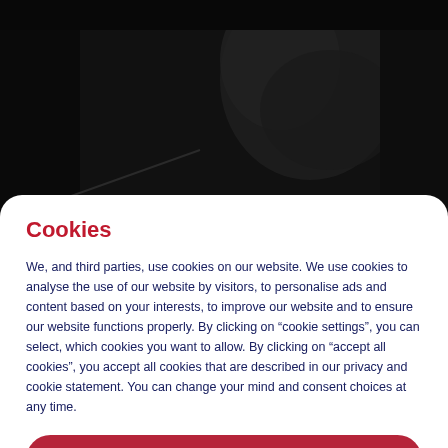[Figure (photo): Dark background image showing a silhouetted figure, partially visible at the top of the page behind the cookie consent modal.]
Cookies
We, and third parties, use cookies on our website. We use cookies to analyse the use of our website by visitors, to personalise ads and content based on your interests, to improve our website and to ensure our website functions properly. By clicking on “cookie settings”, you can select, which cookies you want to allow. By clicking on “accept all cookies”, you accept all cookies that are described in our privacy and cookie statement. You can change your mind and consent choices at any time.
Accept all cookies